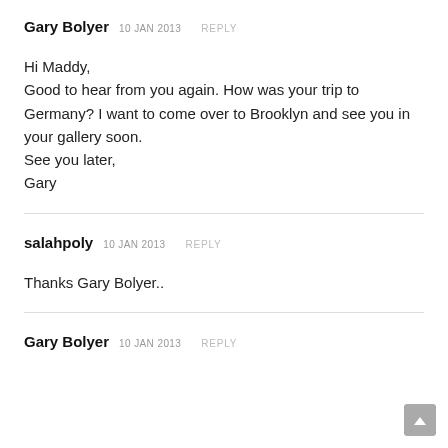Gary Bolyer 10 JAN 2013 REPLY
Hi Maddy,
Good to hear from you again. How was your trip to Germany? I want to come over to Brooklyn and see you in your gallery soon.
See you later,
Gary
salahpoly 10 JAN 2013 REPLY
Thanks Gary Bolyer..
Gary Bolyer 10 JAN 2013 REPLY